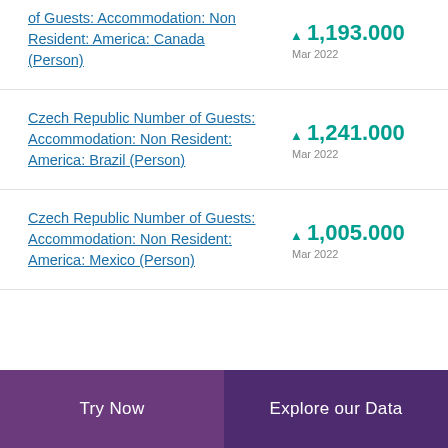of Guests: Accommodation: Non Resident: America: Canada (Person) ▲ 1,193.000 Mar 2022
Czech Republic Number of Guests: Accommodation: Non Resident: America: Brazil (Person) ▲ 1,241.000 Mar 2022
Czech Republic Number of Guests: Accommodation: Non Resident: America: Mexico (Person) ▲ 1,005.000 Mar 2022
Try Now | Explore our Data